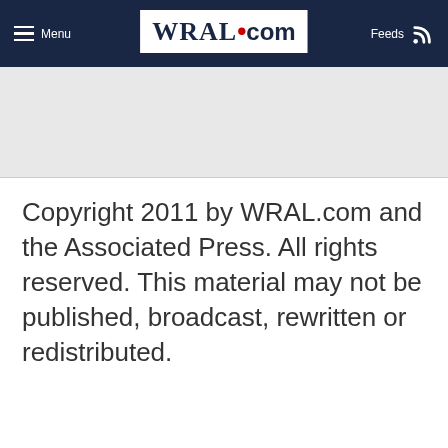Menu | WRAL.com | Feeds
Copyright 2011 by WRAL.com and the Associated Press. All rights reserved. This material may not be published, broadcast, rewritten or redistributed.